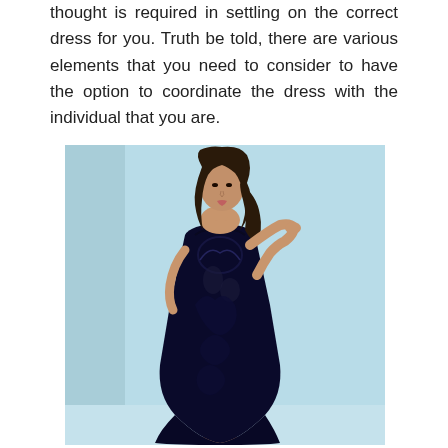thought is required in settling on the correct dress for you. Truth be told, there are various elements that you need to consider to have the option to coordinate the dress with the individual that you are.
[Figure (photo): A woman wearing a strapless navy blue lace mermaid-style gown, posing against a light blue wall, with one hand touching the wall.]